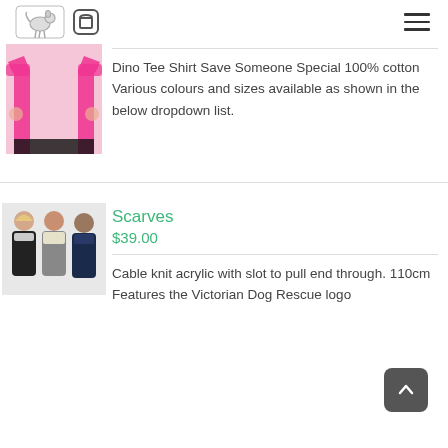Victorian Dog Rescue navigation header with logo, cart icon, and hamburger menu
[Figure (photo): Person wearing a pink Dino Tee Shirt, cropped to show torso]
Dino Tee Shirt Save Someone Special 100% cotton Various colours and sizes available as shown in the below dropdown list.
[Figure (photo): Three people wearing scarves — two women and one man — showing scarf products]
Scarves
$39.00
Cable knit acrylic with slot to pull end through. 110cm Features the Victorian Dog Rescue logo